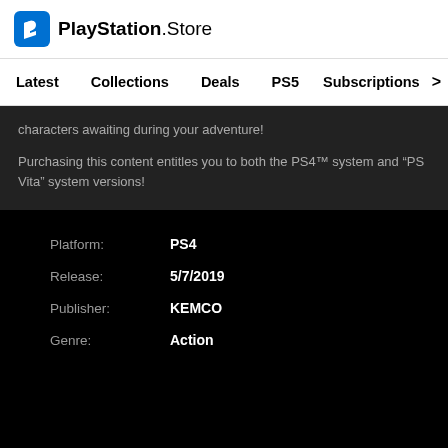PlayStation.Store
Latest   Collections   Deals   PS5   Subscriptions  >
characters awaiting during your adventure!

Purchasing this content entitles you to both the PS4™ system and “PS Vita” system versions!
Platform: PS4
Release: 5/7/2019
Publisher: KEMCO
Genre: Action